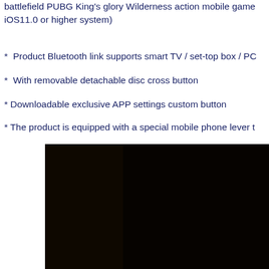battlefield PUBG King's glory Wilderness action mobile game iOS11.0 or higher system)
*  Product Bluetooth link supports smart TV / set-top box / PC
*  With removable detachable disc cross button
* Downloadable exclusive APP settings custom button
* The product is equipped with a special mobile phone lever t
[Figure (photo): Dark/black product photo, mostly dark background showing what appears to be a game controller or device, partially visible from the right side of the image.]